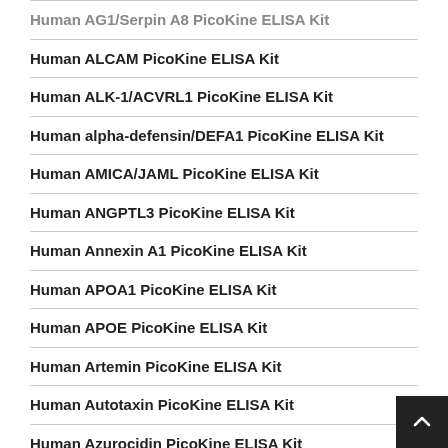Human AG1/Serpin A8 PicoKine ELISA Kit
Human ALCAM PicoKine ELISA Kit
Human ALK-1/ACVRL1 PicoKine ELISA Kit
Human alpha-defensin/DEFA1 PicoKine ELISA Kit
Human AMICA/JAML PicoKine ELISA Kit
Human ANGPTL3 PicoKine ELISA Kit
Human Annexin A1 PicoKine ELISA Kit
Human APOA1 PicoKine ELISA Kit
Human APOE PicoKine ELISA Kit
Human Artemin PicoKine ELISA Kit
Human Autotaxin PicoKine ELISA Kit
Human Azurocidin PicoKine ELISA Kit
Human B2M PicoKine ELISA Kit
Human BCAM PicoKine ELISA Kit